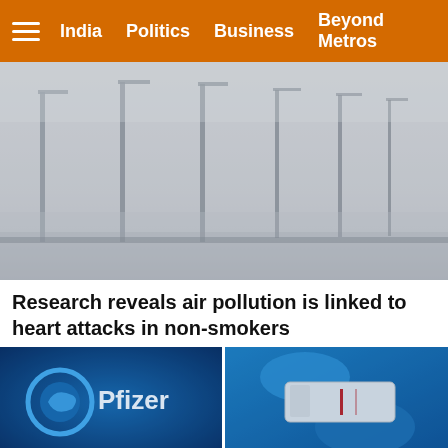India | Politics | Business | Beyond Metros
[Figure (photo): Smoggy street scene with tall lamp posts barely visible through dense grey haze/air pollution]
Research reveals air pollution is linked to heart attacks in non-smokers
[Figure (photo): Pfizer logo on dark blue background]
[Figure (photo): Hands in blue gloves holding a rapid test strip with a red line]